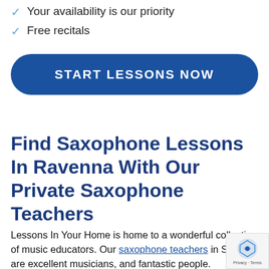Your availability is our priority
Free recitals
START LESSONS NOW
Find Saxophone Lessons In Ravenna With Our Private Saxophone Teachers
Lessons In Your Home is home to a wonderful collection of music educators. Our saxophone teachers in Seattle are excellent musicians, and fantastic people.